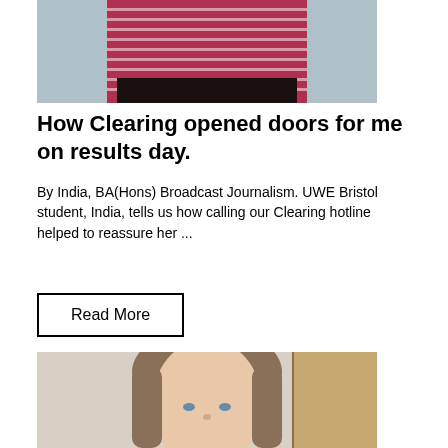[Figure (photo): A young woman wearing a dark red/maroon striped top, photographed from mid-torso up, cropped photo at top of page]
How Clearing opened doors for me on results day.
By India, BA(Hons) Broadcast Journalism. UWE Bristol student, India, tells us how calling our Clearing hotline helped to reassure her ...
Read More
[Figure (photo): A young woman with long straight light brown hair and blue eyes, photographed indoors with a bookcase visible in the background]